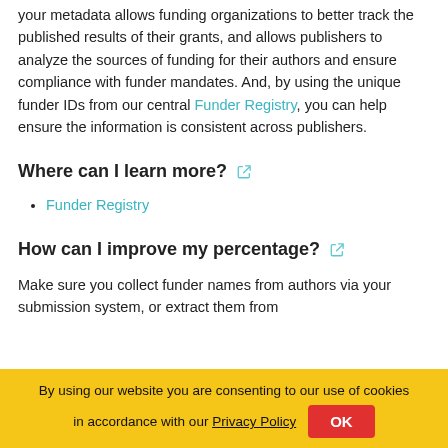your metadata allows funding organizations to better track the published results of their grants, and allows publishers to analyze the sources of funding for their authors and ensure compliance with funder mandates. And, by using the unique funder IDs from our central Funder Registry, you can help ensure the information is consistent across publishers.
Where can I learn more?
Funder Registry
How can I improve my percentage?
Make sure you collect funder names from authors via your submission system, or extract them from
By using our website you are consenting to our use of cookies in accordance with our Privacy Policy  OK